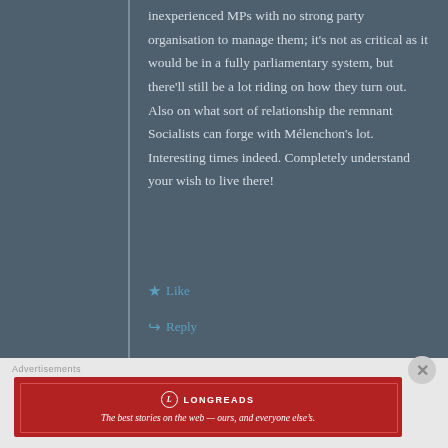inexperienced MPs with no strong party organisation to manage them; it's not as critical as it would be in a fully parliamentary system, but there'll still be a lot riding on how they turn out. Also on what sort of relationship the remnant Socialists can forge with Mélenchon's lot. Interesting times indeed. Completely understand your wish to live there!
★ Like
↳ Reply
[Figure (other): Longreads advertisement banner: red background with Longreads logo and tagline 'The best stories on the web — ours, and everyone else's.']